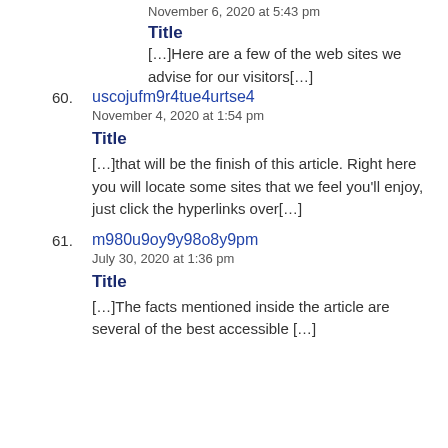November 6, 2020 at 5:43 pm
Title
[…]Here are a few of the web sites we advise for our visitors[…]
60. uscojufm9r4tue4urtse4
November 4, 2020 at 1:54 pm
Title
[…]that will be the finish of this article. Right here you will locate some sites that we feel you'll enjoy, just click the hyperlinks over[…]
61. m980u9oy9y98o8y9pm
July 30, 2020 at 1:36 pm
Title
[…]The facts mentioned inside the article are several of the best accessible […]